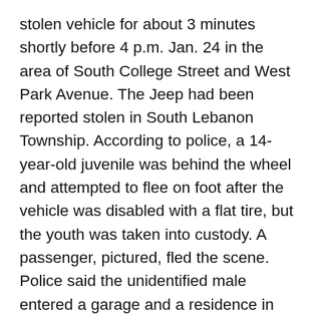stolen vehicle for about 3 minutes shortly before 4 p.m. Jan. 24 in the area of South College Street and West Park Avenue. The Jeep had been reported stolen in South Lebanon Township. According to police, a 14-year-old juvenile was behind the wheel and attempted to flee on foot after the vehicle was disabled with a flat tire, but the youth was taken into custody. A passenger, pictured, fled the scene. Police said the unidentified male entered a garage and a residence in Myerstown while hiding from pursuit. He is believed to be 16 to 20 years old and may use the nickname “Raxks.” Police said they believe he is a resident of Lebanon or spends most of his time in or near the city. Anyone with information on the incident is asked to contact PSP Jonestown at